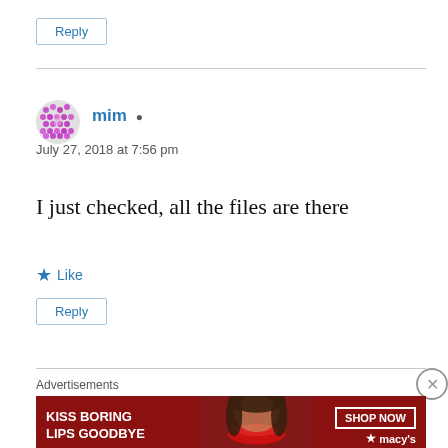Reply
mim
July 27, 2018 at 7:56 pm
I just checked, all the files are there
Like
Reply
Advertisements
[Figure (illustration): Macy's advertisement banner: 'KISS BORING LIPS GOODBYE' with a woman's face and red lips, SHOP NOW button and Macy's logo with star]